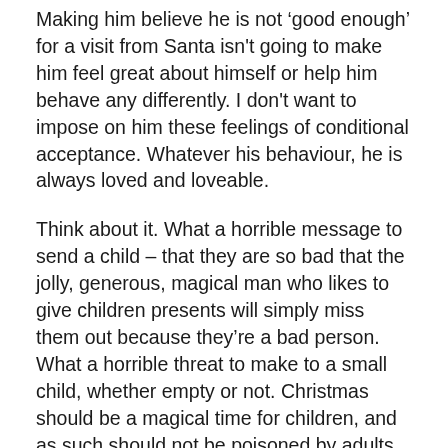Making him believe he is not ‘good enough’ for a visit from Santa isn't going to make him feel great about himself or help him behave any differently. I don't want to impose on him these feelings of conditional acceptance. Whatever his behaviour, he is always loved and loveable.
Think about it. What a horrible message to send a child – that they are so bad that the jolly, generous, magical man who likes to give children presents will simply miss them out because they’re a bad person. What a horrible threat to make to a small child, whether empty or not. Christmas should be a magical time for children, and as such should not be poisoned by adults with their unkind threats and scare stories. Of course every child will be visited by Santa. It’s the season of goodwill, of love, of forgiveness.
The thing is, children, especially those young enough to